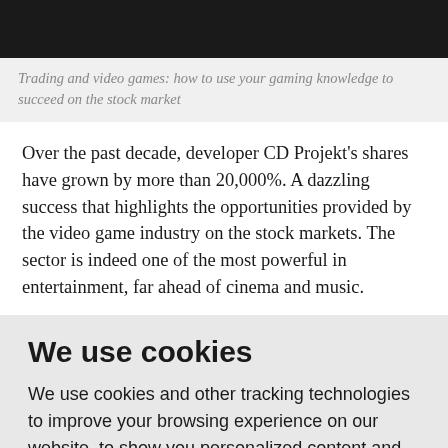[Figure (photo): Dark/black background image, partial view of a person, appears to be a gaming or trading related photo]
Trading and video games: how to use your gaming knowledge to succeed on the stock market
Over the past decade, developer CD Projekt's shares have grown by more than 20,000%. A dazzling success that highlights the opportunities provided by the video game industry on the stock markets. The sector is indeed one of the most powerful in entertainment, far ahead of cinema and music.
We use cookies
We use cookies and other tracking technologies to improve your browsing experience on our website, to show you personalized content and targeted ads, to analyze our website traffic, and to understand where our visitors are coming from.